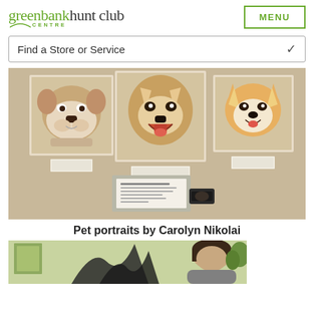greenbank hunt club CENTRE | MENU
Find a Store or Service
[Figure (photo): Three painted dog portraits mounted on a beige wall: a bulldog on the left, a German Shepherd in the center, and a Corgi on the right. Below the portraits are small label cards. A framed information card and a small black object are visible on the lower wall.]
Pet portraits by Carolyn Nikolai
[Figure (photo): Partial view of a person (woman with dark hair) in what appears to be an art gallery or studio with light green/yellow walls and artwork on display.]